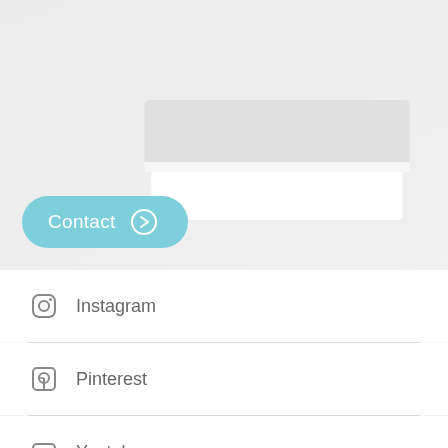[Figure (screenshot): Top section with light grey background, a card-like UI element with dark and white areas, and a teal rounded 'Contact' button with a right-arrow circle icon]
Instagram
Pinterest
Youtube